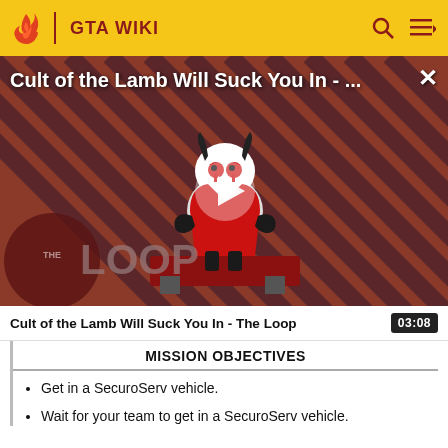GTA WIKI
[Figure (screenshot): Video thumbnail for 'Cult of the Lamb Will Suck You In - The Loop' showing a lamb character on a red background with diagonal stripes, a play button in the center, and 'THE LOOP' text in the lower left. A close (X) button is in the upper right.]
Cult of the Lamb Will Suck You In - The Loop   03:08
MISSION OBJECTIVES
Get in a SecuroServ vehicle.
Wait for your team to get in a SecuroServ vehicle.